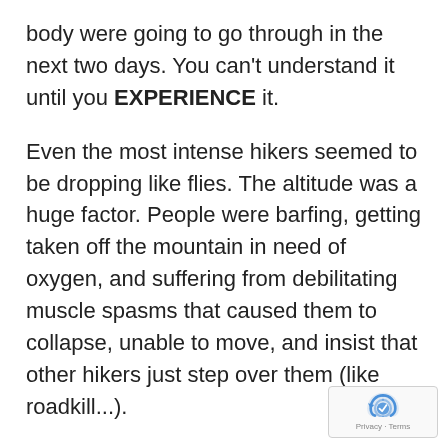body were going to go through in the next two days. You can't understand it until you EXPERIENCE it.
Even the most intense hikers seemed to be dropping like flies. The altitude was a huge factor. People were barfing, getting taken off the mountain in need of oxygen, and suffering from debilitating muscle spasms that caused them to collapse, unable to move, and insist that other hikers just step over them (like roadkill...).
I hiked next to Olympians, professional triathletes, ultramarathoners, pro football players, and a 4 time world record holder for strength and endurance.